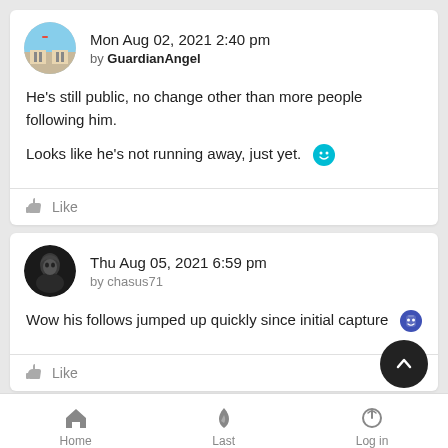Mon Aug 02, 2021 2:40 pm by GuardianAngel
He's still public, no change other than more people following him.

Looks like he's not running away, just yet. 😊
Like
Thu Aug 05, 2021 6:59 pm by chasus71
Wow his follows jumped up quickly since initial capture 😎
Like
Home  Last  Log in